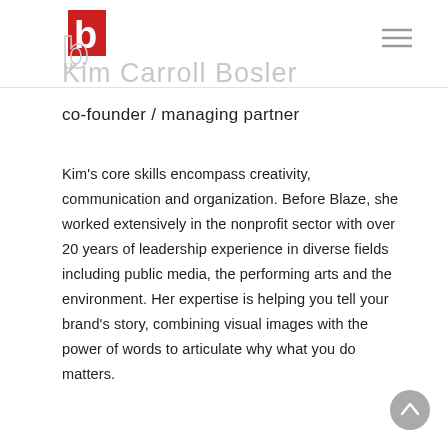Kim Carroll Bosler
co-founder / managing partner
Kim's core skills encompass creativity, communication and organization. Before Blaze, she worked extensively in the nonprofit sector with over 20 years of leadership experience in diverse fields including public media, the performing arts and the environment. Her expertise is helping you tell your brand's story, combining visual images with the power of words to articulate why what you do matters.